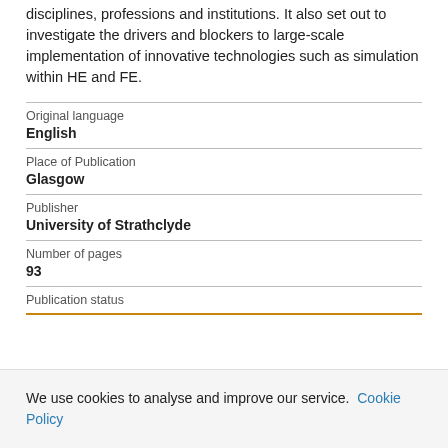disciplines, professions and institutions. It also set out to investigate the drivers and blockers to large-scale implementation of innovative technologies such as simulation within HE and FE.
Original language
English
Place of Publication
Glasgow
Publisher
University of Strathclyde
Number of pages
93
Publication status
We use cookies to analyse and improve our service. Cookie Policy